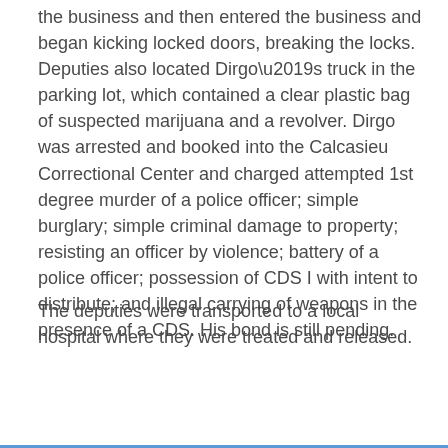the business and then entered the business and began kicking locked doors, breaking the locks. Deputies also located Dirgo’s truck in the parking lot, which contained a clear plastic bag of suspected marijuana and a revolver. Dirgo was arrested and booked into the Calcasieu Correctional Center and charged attempted 1st degree murder of a police officer; simple burglary; simple criminal damage to property; resisting an officer by violence; battery of a police officer; possession of CDS I with intent to distribute; and illegal carrying of weapons in the presence of a CDS. His bond is still pending.
The deputies were transported to a local hospital where they were treated and released.